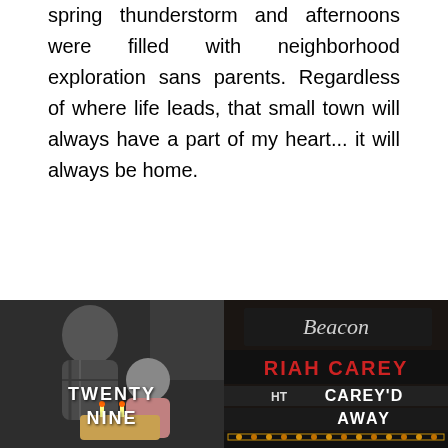spring thunderstorm and afternoons were filled with neighborhood exploration sans parents. Regardless of where life leads, that small town will always have a part of my heart... it will always be home.
[Figure (screenshot): Like button (heart icon) with count 0 in a grey box, and social share icons for Pinterest, Facebook, Twitter, and Tumblr]
[Figure (photo): Left: dark photo of a young man leaning over a small child at a birthday cake, with white text overlay reading TWENTY NINE. Right: photo of a Beacon theater marquee sign showing RIAH CAREY / HT CAREY'D / AWAY in red and white letters with theater lights.]